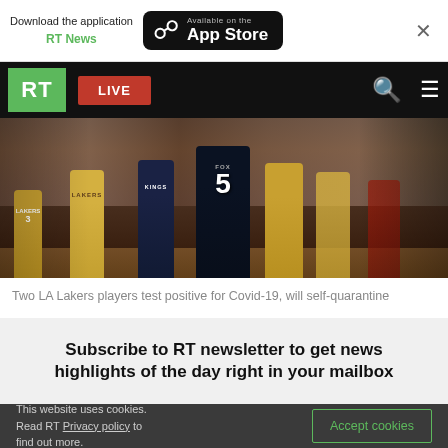Download the application RT News — Available on the App Store
[Figure (screenshot): RT news website navigation bar with green RT logo, LIVE red button, search and menu icons on black background]
[Figure (photo): Basketball game photo showing LA Lakers players in yellow and Sacramento Kings players in dark uniforms, including player Fox wearing #5]
Two LA Lakers players test positive for Covid-19, will self-quarantine
Subscribe to RT newsletter to get news highlights of the day right in your mailbox
This website uses cookies. Read RT Privacy policy to find out more.